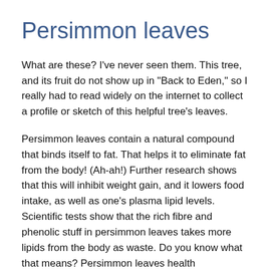Persimmon leaves
What are these? I've never seen them. This tree, and its fruit do not show up in "Back to Eden," so I really had to read widely on the internet to collect a profile or sketch of this helpful tree's leaves.
Persimmon leaves contain a natural compound that binds itself to fat. That helps it to eliminate fat from the body! (Ah-ah!) Further research shows that this will inhibit weight gain, and it lowers food intake, as well as one's plasma lipid levels. Scientific tests show that the rich fibre and phenolic stuff in persimmon leaves takes more lipids from the body as waste. Do you know what that means? Persimmon leaves health consequences? If...